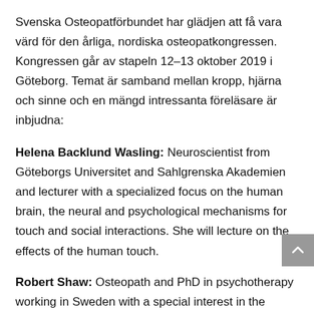Svenska Osteopatförbundet har glädjen att få vara värd för den årliga, nordiska osteopatkongressen. Kongressen går av stapeln 12–13 oktober 2019 i Göteborg. Temat är samband mellan kropp, hjärna och sinne och en mängd intressanta föreläsare är inbjudna:
Helena Backlund Wasling: Neuroscientist from Göteborgs Universitet and Sahlgrenska Akademien and lecturer with a specialized focus on the human brain, the neural and psychological mechanisms for touch and social interactions. She will lecture on the effects of the human touch.
Robert Shaw: Osteopath and PhD in psychotherapy working in Sweden with a special interest in the psychological aspects of osteopathic practice. He will lecture on the effects of trauma and stress assessment in the osteopathic